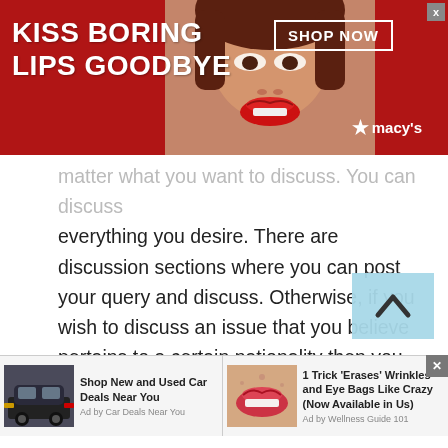[Figure (screenshot): Top advertisement banner with dark red background. Text reads 'KISS BORING LIPS GOODBYE' in white bold uppercase. Center shows a woman's face with red lipstick. Right side shows 'SHOP NOW' button outlined in white and Macy's star logo in white. Close X button top right corner.]
matter what you want to discuss. You can discuss everything you desire. There are discussion sections where you can post your query and discuss. Otherwise, if you wish to discuss an issue that you believe pertains to a certain nationality then you can choose that option as well. Say for instance you want to discuss the eradication of child labor with Estonian people. Then you can chat with people of Estonia in this regard. You can also video chat with random people of Estonia to better understand the concept of child labor. The video calling facility will
[Figure (screenshot): Scroll-to-top button with light blue background and upward chevron arrow, overlaid on text area.]
[Figure (screenshot): Bottom ad strip with two advertisements side by side. Left ad: dark SUV car image with text 'Shop New and Used Car Deals Near You' and 'Ad by Car Deals Near You'. Right ad: close-up lips/face image with text '1 Trick Erases Wrinkles and Eye Bags Like Crazy (Now Available in Us)' and 'Ad by Wellness Guide 101'. Close X button on right side.]